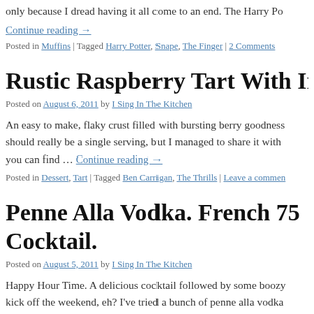only because I dread having it all come to an end. The Harry Po
Continue reading →
Posted in Muffins | Tagged Harry Potter, Snape, The Finger | 2 Comments
Rustic Raspberry Tart With Irish Butter C
Posted on August 6, 2011 by I Sing In The Kitchen
An easy to make, flaky crust filled with bursting berry goodness should really be a single serving, but I managed to share it with you can find … Continue reading →
Posted in Dessert, Tart | Tagged Ben Carrigan, The Thrills | Leave a commen
Penne Alla Vodka. French 75 Cocktail.
Posted on August 5, 2011 by I Sing In The Kitchen
Happy Hour Time. A delicious cocktail followed by some boozy kick off the weekend, eh? I've tried a bunch of penne alla vodka